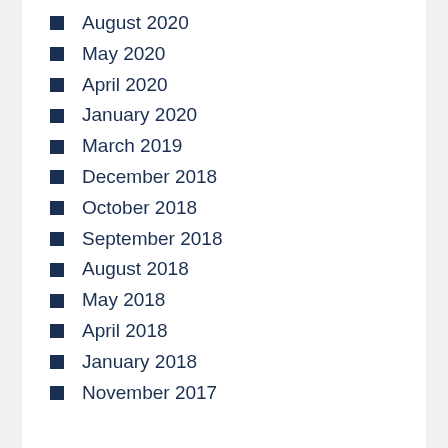August 2020
May 2020
April 2020
January 2020
March 2019
December 2018
October 2018
September 2018
August 2018
May 2018
April 2018
January 2018
November 2017